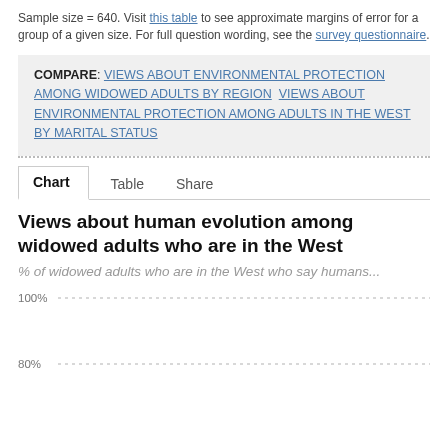Sample size = 640. Visit this table to see approximate margins of error for a group of a given size. For full question wording, see the survey questionnaire.
COMPARE: VIEWS ABOUT ENVIRONMENTAL PROTECTION AMONG WIDOWED ADULTS BY REGION  VIEWS ABOUT ENVIRONMENTAL PROTECTION AMONG ADULTS IN THE WEST BY MARITAL STATUS
Chart  Table  Share
Views about human evolution among widowed adults who are in the West
% of widowed adults who are in the West who say humans...
[Figure (bar-chart): Partially visible bar chart with y-axis showing 100% and 80% gridlines. Chart content is cut off at bottom of page.]